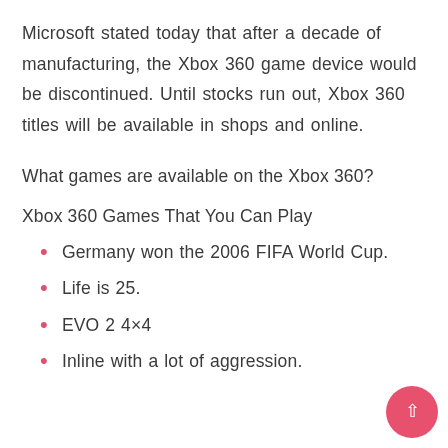Microsoft stated today that after a decade of manufacturing, the Xbox 360 game device would be discontinued. Until stocks run out, Xbox 360 titles will be available in shops and online.
What games are available on the Xbox 360?
Xbox 360 Games That You Can Play
Germany won the 2006 FIFA World Cup.
Life is 25.
EVO 2 4×4
Inline with a lot of aggression.